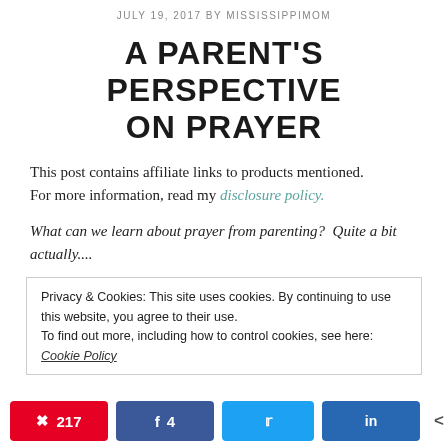JULY 19, 2017 BY MISSISSIPPIMOM
A PARENT'S PERSPECTIVE ON PRAYER
This post contains affiliate links to products mentioned. For more information, read my disclosure policy.
What can we learn about prayer from parenting?  Quite a bit actually....
Privacy & Cookies: This site uses cookies. By continuing to use this website, you agree to their use. To find out more, including how to control cookies, see here: Cookie Policy
Pinterest 217  Facebook 4  Twitter  LinkedIn  < 221 SHARES